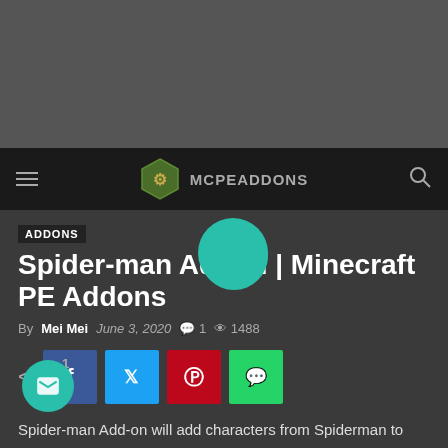[Figure (screenshot): Dark gray advertisement banner area at top of page]
MCPE ADDONS (navigation bar with logo, hamburger menu, and search icon)
ADDONS
Spider-man Addon | Minecraft PE Addons
By Mei Mei  June 3, 2020  💬 1  👁 1488
[Figure (infographic): Social share buttons: share icon, Facebook, Twitter, Pinterest, WhatsApp]
Spider-man Add-on will add characters from Spiderman to your Minecraft world, this addon includes spiderman villains either from comics or movies and spidermans that